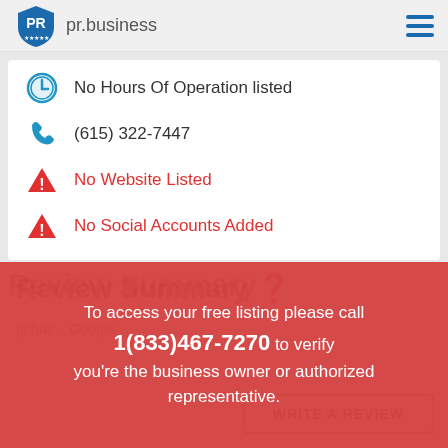pr.business
No Hours Of Operation listed
(615) 322-7447
No Website Listed
No Social Accounts Added
Review Summary
To access your free listing please call 1(833)467-7270 to verify you're the business owner or authorized representative.
WRITE A REVIEW